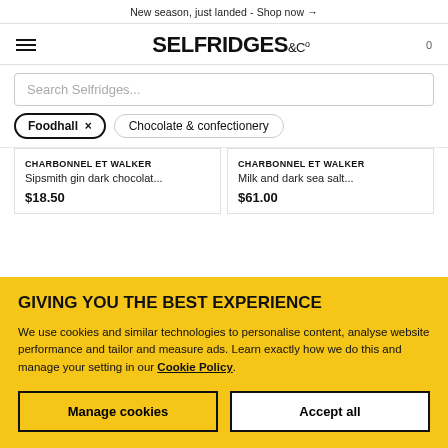New season, just landed - Shop now →
[Figure (logo): Selfridges & Co logo with hamburger menu and cart icon]
Search Selfridges...
Foodhall ×
Chocolate & confectionery
CHARBONNEL ET WALKER
Sipsmith gin dark chocolat...
$18.50
CHARBONNEL ET WALKER
Milk and dark sea salt...
$61.00
GIVING YOU THE BEST EXPERIENCE
We use cookies and similar technologies to personalise content, analyse website performance and tailor and measure ads. Learn exactly how we do this and manage your setting in our Cookie Policy.
Manage cookies
Accept all